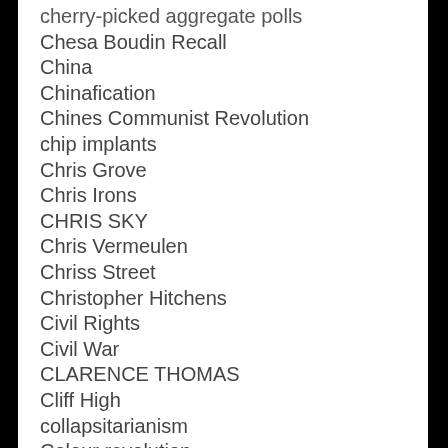cherry-picked aggregate polls
Chesa Boudin Recall
China
Chinafication
Chines Communist Revolution
chip implants
Chris Grove
Chris Irons
CHRIS SKY
Chris Vermeulen
Chriss Street
Christopher Hitchens
Civil Rights
Civil War
CLARENCE THOMAS
Cliff High
collapsitarianism
Colour revolution
commodities
Commodity Futures Trading Commission